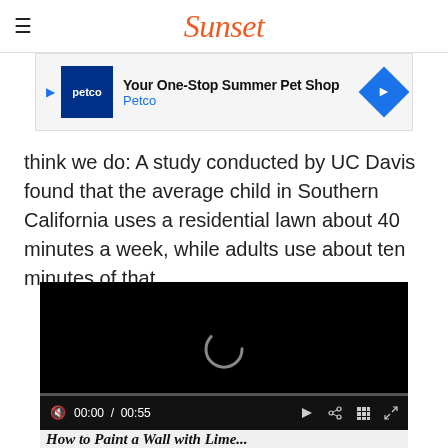Sunset
[Figure (screenshot): Petco advertisement banner: 'Your One-Stop Summer Pet Shop' with Petco logo and navigation arrow icon]
think we do: A study conducted by UC Davis found that the average child in Southern California uses a residential lawn about 40 minutes a week, while adults use about ten minutes of that.
[Figure (screenshot): Embedded video player with black background, loading spinner, progress bar, and controls showing 00:00 / 00:55]
How to Paint a Wall with Lime...